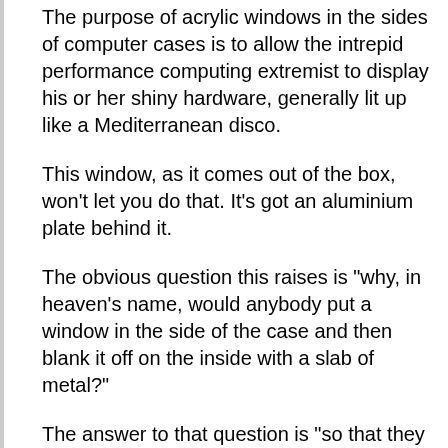The purpose of acrylic windows in the sides of computer cases is to allow the intrepid performance computing extremist to display his or her shiny hardware, generally lit up like a Mediterranean disco.
This window, as it comes out of the box, won't let you do that. It's got an aluminium plate behind it.
The obvious question this raises is "why, in heaven's name, would anybody put a window in the side of the case and then blank it off on the inside with a slab of metal?"
The answer to that question is "so that they can legally sell the cases".
The trouble with computer cases made partly, or entirely, of plastic, is that plastic doesn't do anything to stop electromagnetic radiation (EMR) from the components inside from getting out. Or to stop outside radiation from getting in, for that matter, but the...